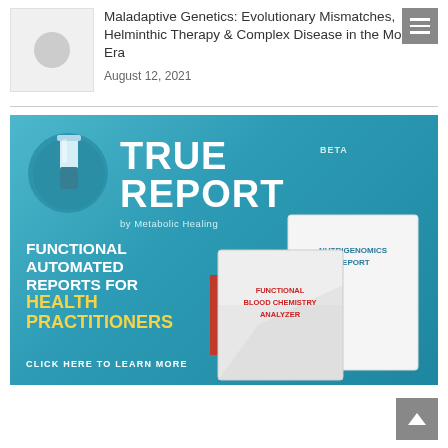Maladaptive Genetics: Evolutionary Mismatches, Helminthic Therapy & Complex Disease in the Modern Era
August 12, 2021
[Figure (infographic): True Report by Metabolic Healing advertisement banner. Teal/blue background with test tube icon in circular emblem. Large white bold text reading TRUE REPORT with BETA label. Subtitle: by Metabolic Healing. Left side text: FUNCTIONAL AUTOMATED REPORTS FOR HEALTH PRACTITIONERS. Right side shows two report book covers: FUNCTIONAL BLOOD CHEMISTRY ANALYZER and NUTRIGENOMICS REPORT. Bottom left: CLICK HERE TO LEARN MORE.]